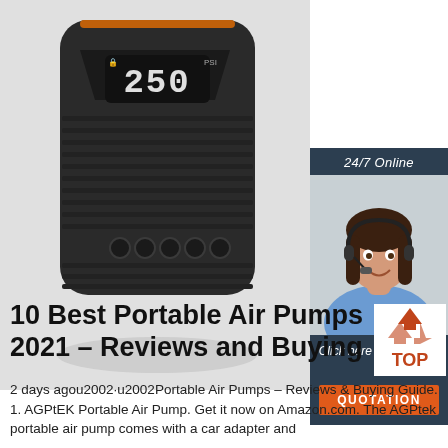[Figure (photo): Product photo of a black portable air pump/compressor with digital display showing '250', ribbed body design and buttons, on a light grey background]
[Figure (photo): Sidebar advertisement with dark blue background. Top: '24/7 Online' text. Middle: Photo of smiling woman with headset (customer service agent). Bottom: 'Click here for free chat!' text and orange 'QUOTATION' button.]
10 Best Portable Air Pumps 2021 – Reviews and Buying
[Figure (logo): TOP logo with orange triangle/chevron arrows above the text 'TOP' in orange on white background]
2 days agou2002·u2002Portable Air Pumps – Reviews & Buying Guide. 1. AGPtEK Portable Air Pump. Get it now on Amazon.com. The AGPtek portable air pump comes with a car adapter and